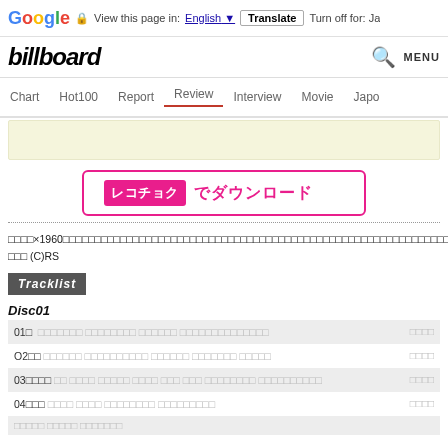Google Translate bar: View this page in: English | Translate | Turn off for: Ja
[Figure (screenshot): Billboard Japan website header with logo and MENU button]
Navigation: Chart | Hot100 | Report | Review | Interview | Movie | Japo
[Figure (screenshot): Beige banner area]
[Figure (logo): Recochoku download button - pink bordered button with レコチョク logo and でダウンロード text]
□□□□×1960□□□□□□□□□□□□□□□□□□□□□□□□□□□□□□□□□□□□□□□□□□□□□□□□□□□□□□□□□□□□□□□□□□□□□□□□□□□□□□□□□□□□□□□□□□□□CD□□□□□□□□□□□□□□□□□□□□□□□□□□□ (C)RS
Tracklist
Disc01
| Track | Title | Duration |
| --- | --- | --- |
| 01□ | □□□□□□□ □□□□□□□□ □□□□□□ □□□□□□□□□□□□□□ | □□□□ |
| 02□□ | □□□□□□ □□□□□□□□□□ □□□□□□ □□□□□□□ □□□□□ | □□□□ |
| 03□□□□ | □□ □□□□ □□□□□ □□□□ □□□ □□□ □□□□□□□□ □□□□□□□□□□ | □□□□ |
| 04□□□ | □□□□ □□□□ □□□□□□□□ □□□□□□□□□ | □□□□ |